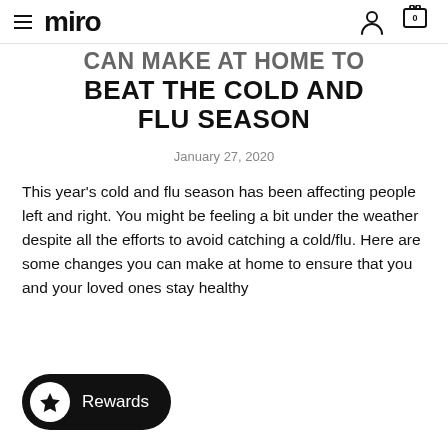miro — navigation bar with hamburger menu, user icon, and cart (0)
CAN MAKE AT HOME TO BEAT THE COLD AND FLU SEASON
January 27, 2020
This year's cold and flu season has been affecting people left and right. You might be feeling a bit under the weather despite all the efforts to avoid catching a cold/flu. Here are some changes you can make at home to ensure that you and your loved ones stay healthy